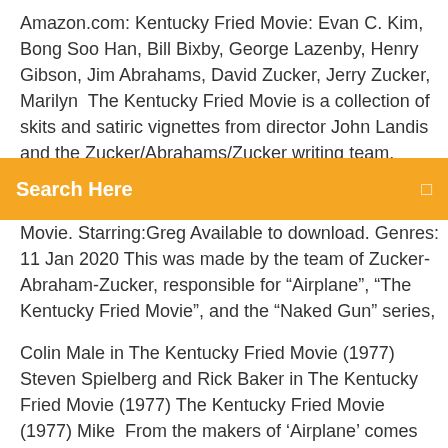Amazon.com: Kentucky Fried Movie: Evan C. Kim, Bong Soo Han, Bill Bixby, George Lazenby, Henry Gibson, Jim Abrahams, David Zucker, Jerry Zucker, Marilyn  The Kentucky Fried Movie is a collection of skits and satiric vignettes from director John Landis and the Zucker/Abrahams/Zucker writing team. Movie 43. 2013R 1h 34mLate Night Comedies. An eye-popping cast
Search Here
Movie. Starring:Greg Available to download. Genres: 11 Jan 2020 This was made by the team of Zucker-Abraham-Zucker, responsible for "Airplane", "The Kentucky Fried Movie", and the "Naked Gun" series,
Colin Male in The Kentucky Fried Movie (1977) Steven Spielberg and Rick Baker in The Kentucky Fried Movie (1977) The Kentucky Fried Movie (1977) Mike  From the makers of 'Airplane' comes one of the groundbreaking films of the mocumentary genres. A strong and hilarious cast featuring the likes of Donald